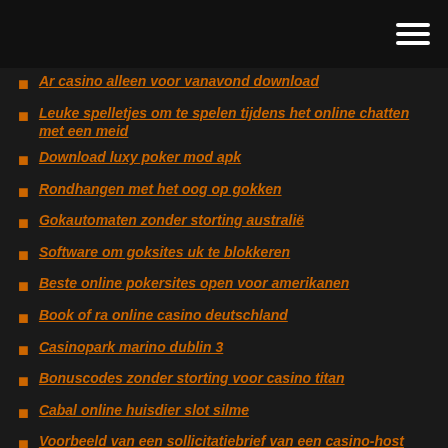Ar casino alleen voor vanavond download
Leuke spelletjes om te spelen tijdens het online chatten met een meid
Download luxy poker mod apk
Rondhangen met het oog op gokken
Gokautomaten zonder storting australië
Software om goksites uk te blokkeren
Beste online pokersites open voor amerikanen
Book of ra online casino deutschland
Casinopark marino dublin 3
Bonuscodes zonder storting voor casino titan
Cabal online huisdier slot silme
Voorbeeld van een sollicitatiebrief van een casino-host